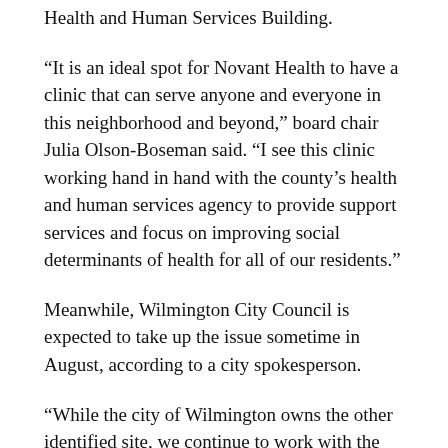Health and Human Services Building.
“It is an ideal spot for Novant Health to have a clinic that can serve anyone and everyone in this neighborhood and beyond,” board chair Julia Olson-Boseman said. “I see this clinic working hand in hand with the county’s health and human services agency to provide support services and focus on improving social determinants of health for all of our residents.”
Meanwhile, Wilmington City Council is expected to take up the issue sometime in August, according to a city spokesperson.
“While the city of Wilmington owns the other identified site, we continue to work with the city and other community organizations to determine the exact location,” the Novant spokesperson said. “We want to ensure these clinics are positioned to have